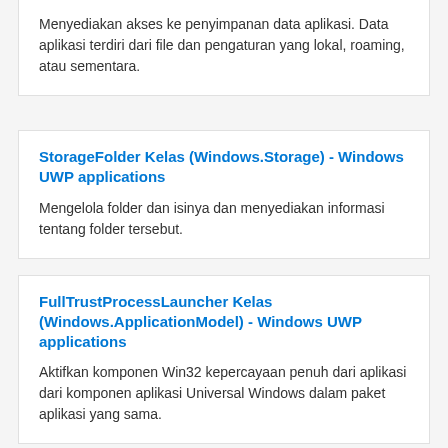Menyediakan akses ke penyimpanan data aplikasi. Data aplikasi terdiri dari file dan pengaturan yang lokal, roaming, atau sementara.
StorageFolder Kelas (Windows.Storage) - Windows UWP applications
Mengelola folder dan isinya dan menyediakan informasi tentang folder tersebut.
FullTrustProcessLauncher Kelas (Windows.ApplicationModel) - Windows UWP applications
Aktifkan komponen Win32 kepercayaan penuh dari aplikasi dari komponen aplikasi Universal Windows dalam paket aplikasi yang sama.
ApplicationData.LocalFolder Properti (Windows.Storage) - Windows UWP applications